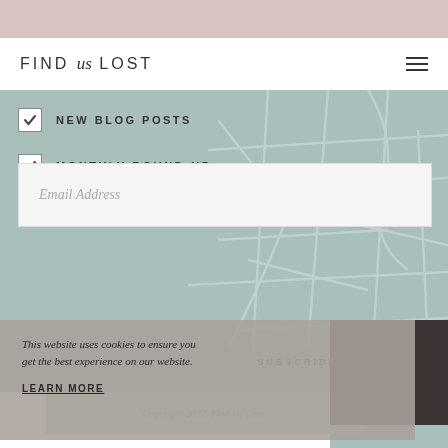FIND us LOST
NEW BLOG POSTS
MONTHLY ROUND-UP
SPECIAL ANNOUNCEMENTS
Email Address
SUBSCRIBE
This website uses cookies to ensure you get the best experience on our website.
LEARN MORE
Copyright 2022, Find Us Lost.